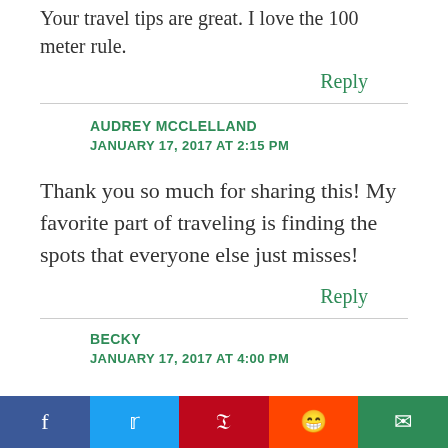Your travel tips are great. I love the 100 meter rule.
Reply
AUDREY MCCLELLAND
JANUARY 17, 2017 AT 2:15 PM
Thank you so much for sharing this! My favorite part of traveling is finding the spots that everyone else just misses!
Reply
BECKY
JANUARY 17, 2017 AT 4:00 PM